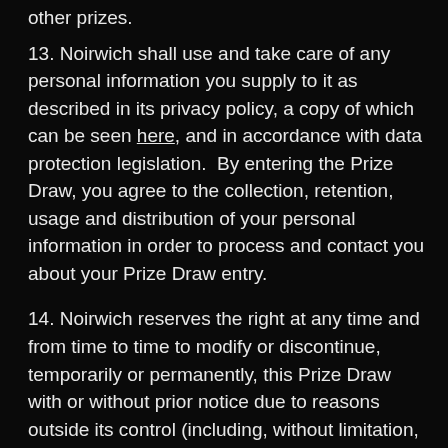other prizes.
13. Noirwich shall use and take care of any personal information you supply to it as described in its privacy policy, a copy of which can be seen here, and in accordance with data protection legislation.  By entering the Prize Draw, you agree to the collection, retention, usage and distribution of your personal information in order to process and contact you about your Prize Draw entry.
14. Noirwich reserves the right at any time and from time to time to modify or discontinue, temporarily or permanently, this Prize Draw with or without prior notice due to reasons outside its control (including, without limitation, in the case of anticipated, suspected or actual fraud). The decision of Noirwich in all matters under its control is final and binding and no correspondence will be entered into.